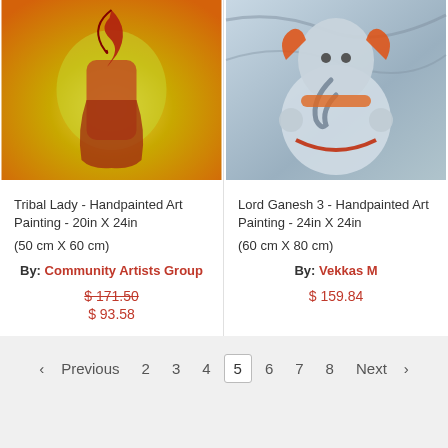[Figure (photo): Tribal Lady handpainted art painting — warm orange/yellow background with a figure holding a red decorative element]
Tribal Lady - Handpainted Art Painting - 20in X 24in
(50 cm X 60 cm)
By: Community Artists Group
$ 171.50 (strikethrough) $ 93.58
[Figure (photo): Lord Ganesh 3 handpainted art painting — grey/blue tones with decorative orange elements]
Lord Ganesh 3 - Handpainted Art Painting - 24in X 24in
(60 cm X 80 cm)
By: Vekkas M
$ 159.84
‹ Previous  2  3  4  5  6  7  8  Next ›